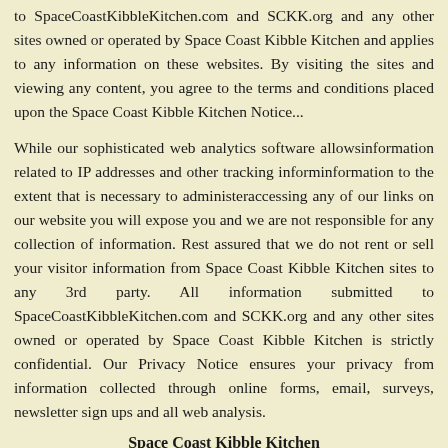to SpaceCoastKibbleKitchen.com and SCKK.org and any other sites owned or operated by Space Coast Kibble Kitchen and applies to any information on these websites. By visiting the sites and viewing any content, you agree to the terms and conditions placed upon the Space Coast Kibble Kitchen Noti...
While our sophisticated web analytics software allows ... information related to IP addresses and other tracking inform... information to the extent that is necessary to administer... accessing any of our links on our website you will expose yo... and we are not responsible for any collection of informatio... Rest assured that we do not rent or sell your visitor inform... Coast Kibble Kitchen sites to any 3rd party. All informatio... to SpaceCoastKibbleKitchen.com and SCKK.org and any ... owned or operated by Space Coast Kibble Kitchen is strict... Privacy Notice ensures your privacy from information collect... forms, email, surveys, newsletter sign ups and all web analys...
Space Coast Kibble Kitchen
Florida's Regional 501(c)(3) Pet Food Ban...
PO Box 411353
Melbourne, FL 32941